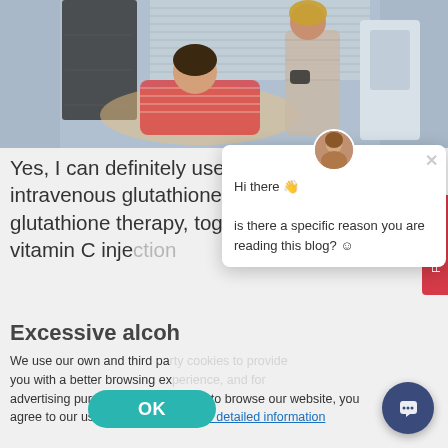[Figure (photo): A clinic scene showing a patient reclining in a chair wearing a striped red shirt, and a medical professional in a blazer standing next to medical equipment.]
Yes, I can definitely use it. I prefer to do intravenous glutathione, that is, intravenous glutathione therapy, together with high-dose vitamin C injection
Excessive alcohol c
We use our own and third pa... you with a better browsing ex... advertising purposes. By continuing to browse our website, you agree to our use of cookies. Click for detailed information
[Figure (screenshot): Chat popup widget with avatar showing 'Hi there 👋 is there a specific reason you are reading this blog? ☺']
OK